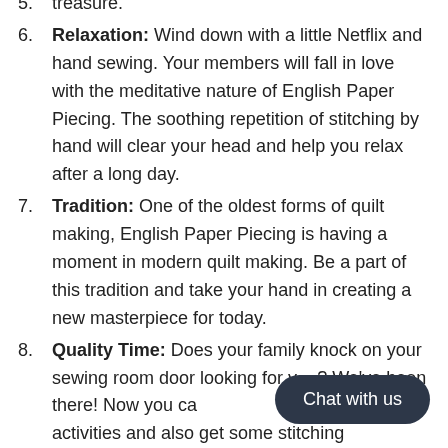treasure.
Relaxation: Wind down with a little Netflix and hand sewing. Your members will fall in love with the meditative nature of English Paper Piecing. The soothing repetition of stitching by hand will clear your head and help you relax after a long day.
Tradition: One of the oldest forms of quilt making, English Paper Piecing is having a moment in modern quilt making. Be a part of this tradition and take your hand in creating a new masterpiece for today.
Quality Time: Does your family knock on your sewing room door looking for y...? We've been there! Now you ca...em during their activities and also get some stitching